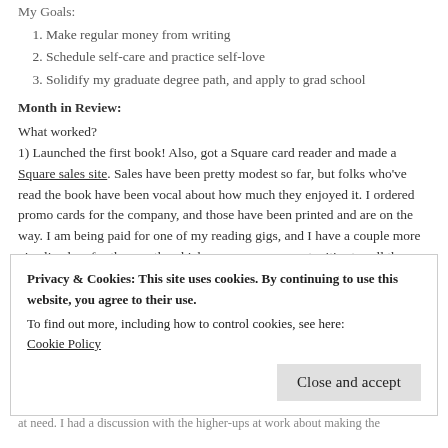My Goals:
Make regular money from writing
Schedule self-care and practice self-love
Solidify my graduate degree path, and apply to grad school
Month in Review:
What worked?
1) Launched the first book! Also, got a Square card reader and made a Square sales site. Sales have been pretty modest so far, but folks who've read the book have been vocal about how much they enjoyed it. I ordered promo cards for the company, and those have been printed and are on the way. I am being paid for one of my reading gigs, and I have a couple more gigs lined up for the month, which means more opportunities to sell the book. And I started a small Facebook group for writing and workshopping poetry, since it's National Poetry Writing Month. I've already written a couple poems through that, and I'm hoping to get one done for each day, to be revised in May and then sent out for prospective publication.
Privacy & Cookies: This site uses cookies. By continuing to use this website, you agree to their use.
To find out more, including how to control cookies, see here: Cookie Policy
Close and accept
at need. I had a discussion with the higher-ups at work about making the